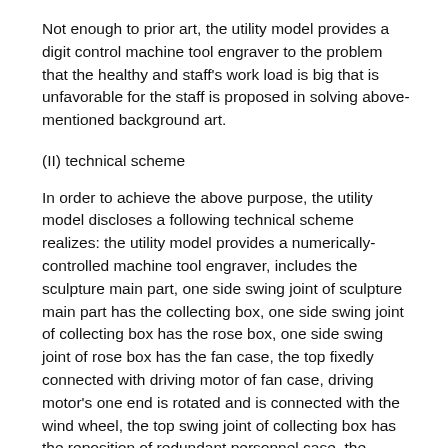Not enough to prior art, the utility model provides a digit control machine tool engraver to the problem that the healthy and staff's work load is big that is unfavorable for the staff is proposed in solving above-mentioned background art.
(II) technical scheme
In order to achieve the above purpose, the utility model discloses a following technical scheme realizes: the utility model provides a numerically-controlled machine tool engraver, includes the sculpture main part, one side swing joint of sculpture main part has the collecting box, one side swing joint of collecting box has the rose box, one side swing joint of rose box has the fan case, the top fixedly connected with driving motor of fan case, driving motor's one end is rotated and is connected with the wind wheel, the top swing joint of collecting box has the reposition of redundant personnel case, the outside fixedly connected with pipeline of reposition of redundant personnel case, the both sides of sculpture main part are fixedly connected with rack and removal frame respectively, the top fixedly connected with glass cover of rack, the top fixedly